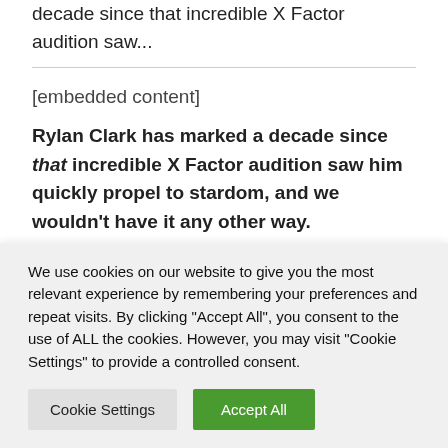[embedded content] Rylan Clark has marked a decade since that incredible X Factor audition saw...
[embedded content]
Rylan Clark has marked a decade since that incredible X Factor audition saw him quickly propel to stardom, and we wouldn't have it any other way.
From here, Rylan moved into the...
We use cookies on our website to give you the most relevant experience by remembering your preferences and repeat visits. By clicking "Accept All", you consent to the use of ALL the cookies. However, you may visit "Cookie Settings" to provide a controlled consent.
Cookie Settings | Accept All